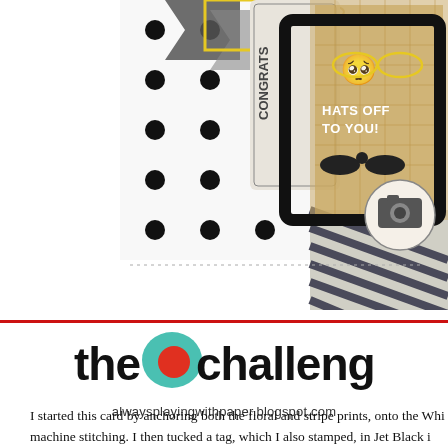[Figure (photo): Scrapbook card featuring black-and-white polka dot paper, gray and yellow geometric shapes, a tag labeled CONGRATS with twine, a kraft paper panel with gold mustache illustration and 'HATS OFF TO YOU!' text in white, black mustache embellishments, a circular vintage camera sticker, and diagonal black-and-white striped paper in the lower right.]
[Figure (logo): The Challenge blog logo: 'the challenge' in bold black sans-serif with a teal paint splash behind a red dot between 'the' and 'challenge', and URL alwaysplayingwithpaper.blogspot.com below.]
I started this card by anchoring both the floral and stripe prints, onto the Whi machine stitching. I then tucked a tag, which I also stamped, in Jet Black i